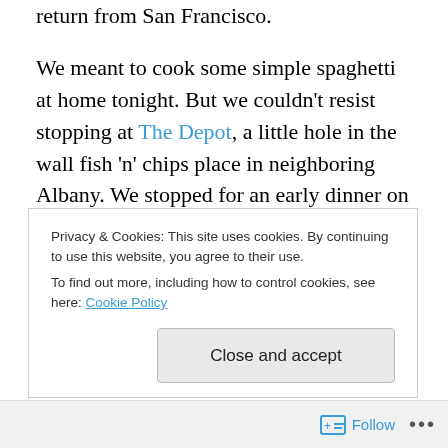return from San Francisco.
We meant to cook some simple spaghetti at home tonight. But we couldn't resist stopping at The Depot, a little hole in the wall fish 'n' chips place in neighboring Albany. We stopped for an early dinner on the way home from Portland.
Fish 'n' chips made with local  Pacific Cod is the thing to order there. We had some on a seafood platter, which came with a delicious shrimp salad. I love the taste of those mild Oregon bay shrimp. They were scattered over
Privacy & Cookies: This site uses cookies. By continuing to use this website, you agree to their use.
To find out more, including how to control cookies, see here: Cookie Policy
Close and accept
Follow ...